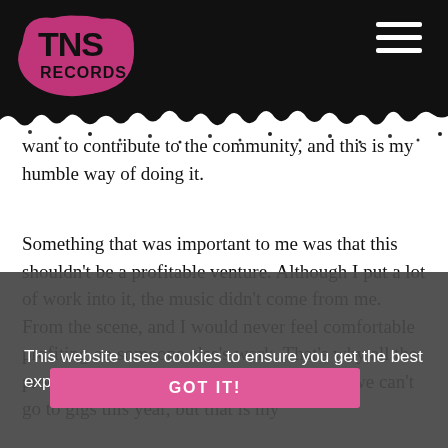TNS Records
want to contribute to the community, and this is my humble way of doing it.
Something that was important to me was that this shouldn't be a profitable venture. Although I put a lot of work into it, the music didn't come from me. From the scene, and I would never feel comfortable profiting on someone else's work. That's why all the proceeds are going to Music Venue Trust – we can't go to gigs this year, but that is my
This website uses cookies to ensure you get the best experience on our website. Learn more
GOT IT!